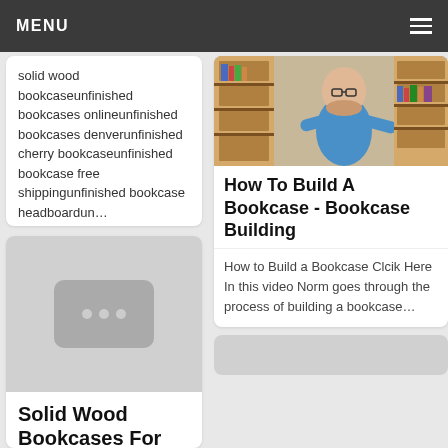MENU
solid wood bookcaseunfinished bookcases onlineunfinished bookcases denverunfinished cherry bookcaseunfinished bookcase free shippingunfinished bookcase headboardun…
[Figure (photo): Placeholder image with three dots on grey background]
Solid Wood Bookcases For
[Figure (photo): Man standing in front of a wooden bookcase in a workshop]
How To Build A Bookcase - Bookcase Building
How to Build a Bookcase Clcik Here In this video Norm goes through the process of building a bookcase…